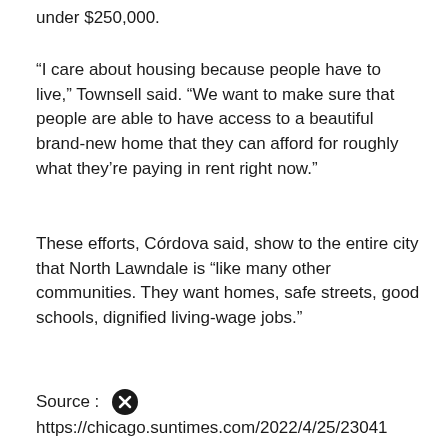under $250,000.
“I care about housing because people have to live,” Townsell said. “We want to make sure that people are able to have access to a beautiful brand-new home that they can afford for roughly what they’re paying in rent right now.”
These efforts, Córdova said, show to the entire city that North Lawndale is “like many other communities. They want homes, safe streets, good schools, dignified living-wage jobs.”
Source :
https://chicago.suntimes.com/2022/4/25/23041